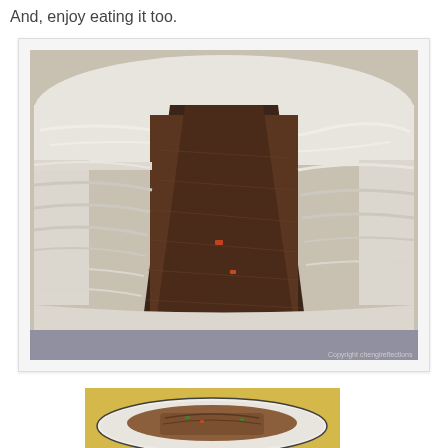And, enjoy eating it too.
[Figure (photo): A large layer cake with white frosting, with a slice removed revealing dark brown cake interior, placed on a glass cake stand. Copyright chengireflections watermark visible.]
[Figure (photo): A plate with a slice of cake and what appears to be a serving of food on a yellow surface, partially visible at the bottom of the page.]